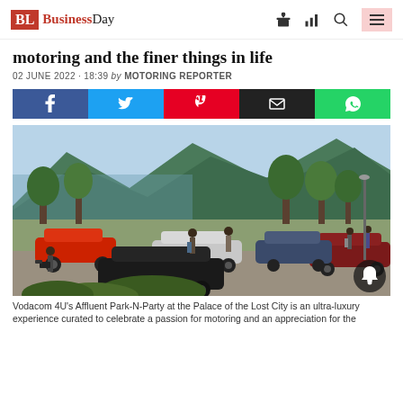BL BusinessDay
motoring and the finer things in life
02 JUNE 2022 · 18:39 by MOTORING REPORTER
[Figure (other): Social media share buttons row: Facebook (blue), Twitter (light blue), Pinterest (red), Email (black), WhatsApp (green)]
[Figure (photo): Outdoor classic and luxury car show at lakeside venue with mountain backdrop. Multiple classic cars on display on grass, spectators walking around. Trees visible, clear sunny day.]
Vodacom 4U's Affluent Park-N-Party at the Palace of the Lost City is an ultra-luxury experience curated to celebrate a passion for motoring and an appreciation for the